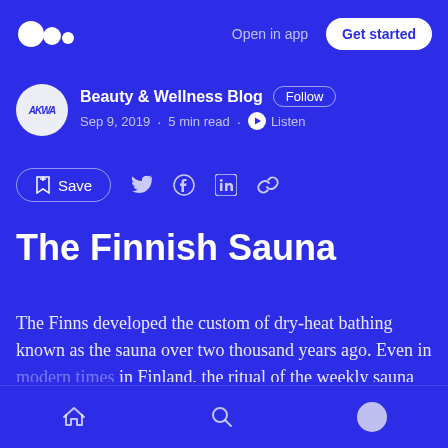Medium logo | Open in app | Get started
Beauty & Wellness Blog  Follow
Sep 9, 2019 · 5 min read · Listen
Save (social share icons: Twitter, Facebook, LinkedIn, Link)
The Finnish Sauna
The Finns developed the custom of dry-heat bathing known as the sauna over two thousand years ago. Even in modern times in Finland, the ritual of the weekly sauna continues to be
Home | Search | Profile